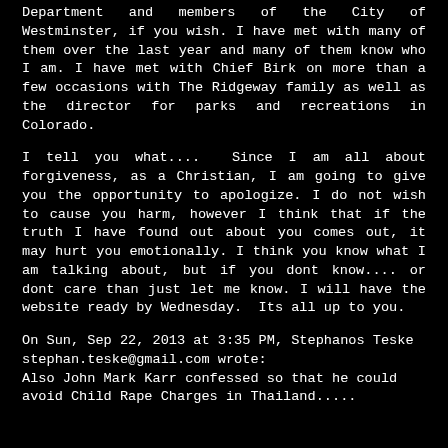Department and members of the City of Westminster, if you wish. I have met with many of them over the last year and many of them know who I am. I have met with Chief Birk on more than a few occasions with The Ridgeway family as well as the director for parks and recreations in Colorado.
I tell you what.... Since I am all about forgiveness, as a Christian, I am going to give you the opportunity to apologize. I do not wish to cause you harm, however I think that if the truth I have found out about you comes out, it may hurt you emotionally. I think you know what I am talking about, but if you dont know.... or dont care than just let me know. I will have the website ready by Wednesday.  Its all up to you.
On Sun, Sep 22, 2013 at 3:35 PM, Stephanos Teske stephan.teske@gmail.com wrote:
Also John Mark Karr confessed so that he could avoid Child Rape Charges in Thailand.....